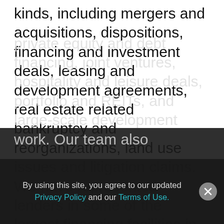...Our team has handled real estate transactions of all kinds, including mergers and acquisitions, dispositions, financing and investment deals, leasing and development agreements, real estate related bankruptcy and reorganizations, land use issues and litigation claims. We have represented lenders in some of the largest financing facilities in New Jersey, and assisted developers in development and sale of large commercial and residential projects.  Our interdisciplinary real estate team is well-versed in tax, securities, and contract matters and can help structure, negotiate and close complex public and private equity and debt financing, joint ventures, hospitality and leisure deals, portfolio and REITs, and large-scale development work. Our team also
By using this site, you agree to our updated Privacy Policy and our Terms of Use.